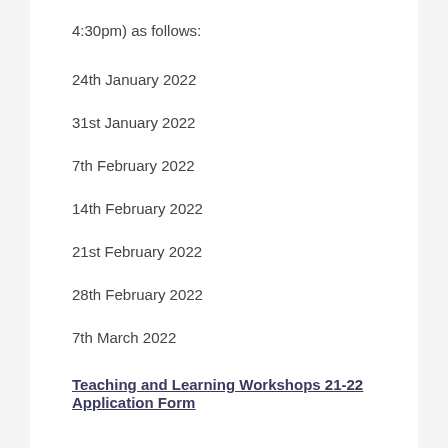4:30pm) as follows:
24th January 2022
31st January 2022
7th February 2022
14th February 2022
21st February 2022
28th February 2022
7th March 2022
Teaching and Learning Workshops 21-22 Application Form